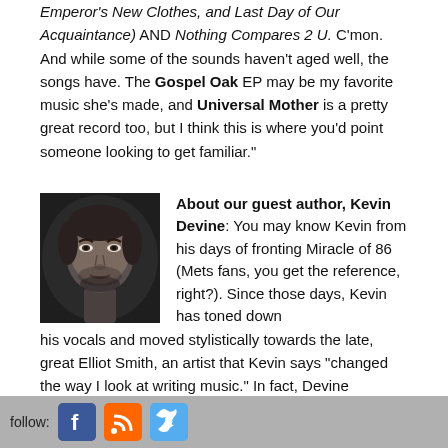Emperor's New Clothes, and Last Day of Our Acquaintance) AND Nothing Compares 2 U. C'mon. And while some of the sounds haven't aged well, the songs have. The Gospel Oak EP may be my favorite music she's made, and Universal Mother is a pretty great record too, but I think this is where you'd point someone looking to get familiar."
[Figure (photo): Black and white portrait photo of Kevin Devine]
About our guest author, Kevin Devine: You may know Kevin from his days of fronting Miracle of 86 (Mets fans, you get the reference, right?). Since those days, Kevin has toned down his vocals and moved stylistically towards the late, great Elliot Smith, an artist that Kevin says “changed the way I look at writing music.” In fact, Devine snagged Elliot Smith’s producer, Rob Schnapf for his major label debut, Put Your Ghost To Rest. In 2009, Paste Magazine gushed about Devine’s release, Brother’s Blood, saying that Devine’s “… soothing observations and idiosyncratic details leave a
follow: